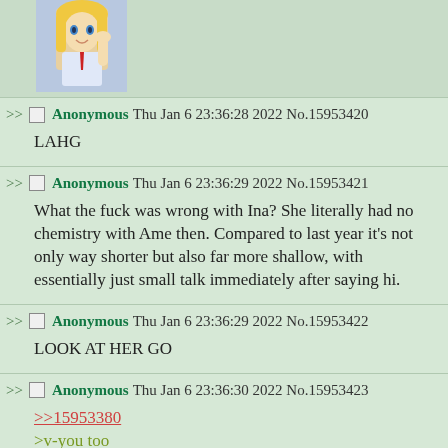[Figure (illustration): Anime character illustration — blonde girl in school uniform with red tie, waving hand]
Anonymous Thu Jan 6 23:36:28 2022 No.15953420
LAHG
Anonymous Thu Jan 6 23:36:29 2022 No.15953421
What the fuck was wrong with Ina? She literally had no chemistry with Ame then. Compared to last year it's not only way shorter but also far more shallow, with essentially just small talk immediately after saying hi.
Anonymous Thu Jan 6 23:36:29 2022 No.15953422
LOOK AT HER GO
Anonymous Thu Jan 6 23:36:30 2022 No.15953423
>>15953380
>v-you too